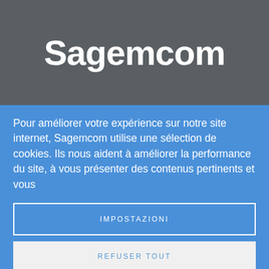[Figure (logo): Sagemcom logo in white bold text on dark gray background]
Pour améliorer votre expérience sur notre site internet, Sagemcom utilise une sélection de cookies. Ils nous aident à améliorer la performance du site, à vous présenter des contenus pertinents et vous
IMPOSTAZIONI
REFUSER TOUT
ACCEPT ALL